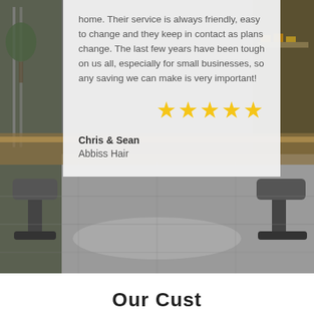[Figure (photo): Interior of a hair salon with barber chairs, wooden countertops, and tile floor]
home. Their service is always friendly, easy to change and they keep in contact as plans change. The last few years have been tough on us all, especially for small businesses, so any saving we can make is very important!
★★★★★
Chris & Sean
Abbiss Hair
Our Cust